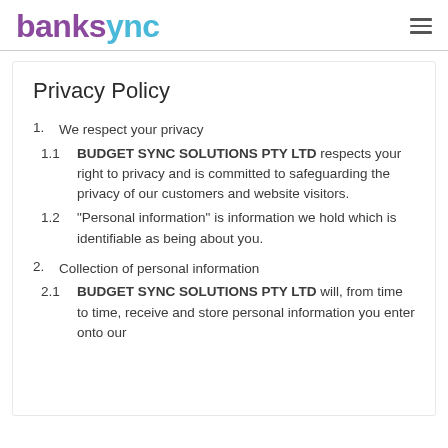banksync
Privacy Policy
1. We respect your privacy
1.1 BUDGET SYNC SOLUTIONS PTY LTD respects your right to privacy and is committed to safeguarding the privacy of our customers and website visitors.
1.2 "Personal information" is information we hold which is identifiable as being about you.
2. Collection of personal information
2.1 BUDGET SYNC SOLUTIONS PTY LTD will, from time to time, receive and store personal information you enter onto our